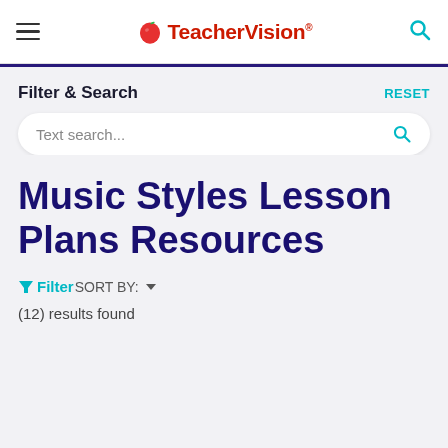TeacherVision
Filter & Search
RESET
Text search...
Music Styles Lesson Plans Resources
Filter SORT BY:
(12) results found